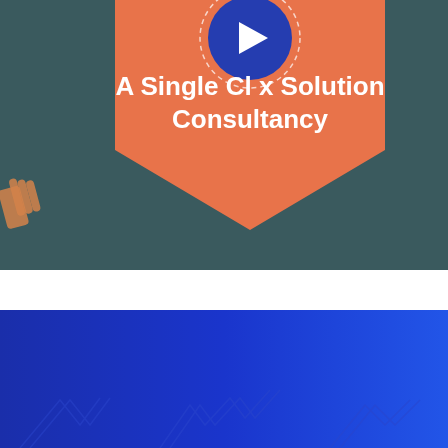[Figure (screenshot): A promotional video thumbnail showing a dark teal background with an orange ribbon/banner shape containing white bold text 'A Single Cl[ick] Solution Consultancy' with a blue play button circle partially overlapping the top. A hand icon is partially visible on the left edge.]
[Figure (illustration): A blue gradient background section (dark blue on left to brighter blue on right) with faint decorative angular/chevron line patterns visible at the bottom.]